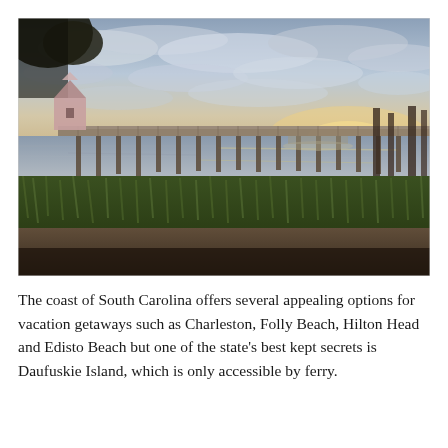[Figure (photo): A waterfront dock/marina scene at sunset or dusk in coastal South Carolina. A long wooden dock extends over calm water with boat slips. A small pink/light-colored building with a conical roof sits at the left end of the dock. Tall marsh grasses and a dirt path are in the foreground. A large tree is visible in the upper left corner. The sky has dramatic clouds lit in pale orange and blue tones from the setting sun.]
The coast of South Carolina offers several appealing options for vacation getaways such as Charleston, Folly Beach, Hilton Head and Edisto Beach but one of the state's best kept secrets is Daufuskie Island, which is only accessible by ferry.